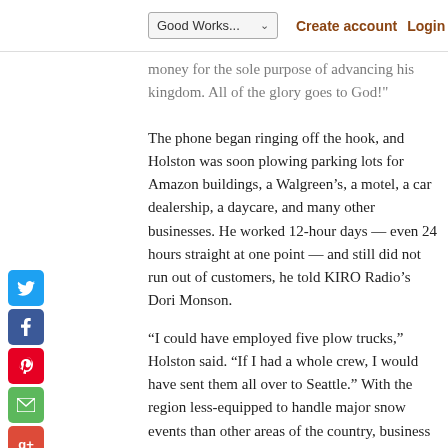Good Works... ∨   Create account   Login
money for the sole purpose of advancing his kingdom. All of the glory goes to God!"
The phone began ringing off the hook, and Holston was soon plowing parking lots for Amazon buildings, a Walgreen's, a motel, a car dealership, a daycare, and many other businesses. He worked 12-hour days — even 24 hours straight at one point — and still did not run out of customers, he told KIRO Radio's Dori Monson.
“I could have employed five plow trucks,” Holston said. “If I had a whole crew, I would have sent them all over to Seattle.” With the region less-equipped to handle major snow events than other areas of the country, business owners were desperate to get the Idahoan’s help clearing away the snow.
At $750 per hour, it was a lucrative gig. Over the course of four days, “the Lord blessed me with about $35,000,” Holston said. The snow cleared